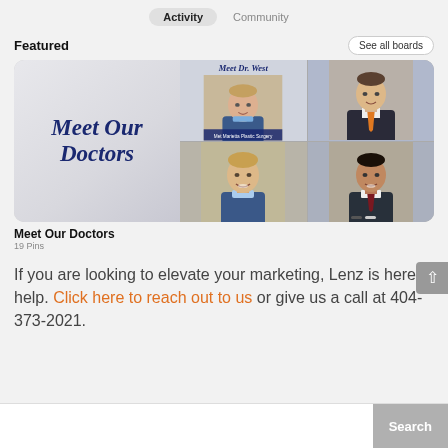Activity   Community
Featured
[Figure (screenshot): Pinterest board screenshot titled 'Meet Our Doctors' showing a grid of doctor portraits with a decorative 'Meet Our Doctors' script text on the left panel and 'Meet Dr. West' panel, along with photos of three male doctors.]
Meet Our Doctors
19 Pins
If you are looking to elevate your marketing, Lenz is here to help. Click here to reach out to us or give us a call at 404-373-2021.
Search